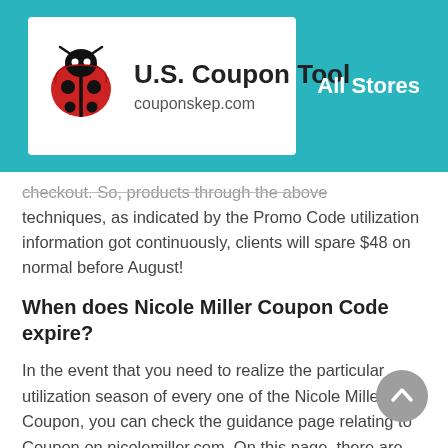U.S. Coupon Tool couponskep.com | All Stores
checkout. So, products through the above techniques, as indicated by the Promo Code utilization information got continuously, clients will spare $48 on normal before August!
When does Nicole Miller Coupon Code expire?
In the event that you need to realize the particular utilization season of every one of the Nicole Miller Coupon, you can check the guidance page relating to Coupon on nicolemiller.com. On this page, there are commonly clear termination time and use rules of each Nicole Miller Coupon Code. In the wake of comprehension, you can appreciate the additional limits gave by Nicole Miller Promo